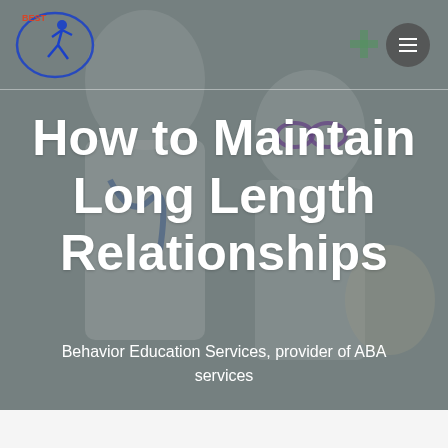[Figure (photo): Background photo of two children dressed as medical professionals — one in a nurse/doctor costume with a stethoscope, another with purple glasses — set against a muted gray-tinted overlay.]
BEST (logo) | hamburger menu icon
How to Maintain Long Length Relationships
Behavior Education Services, provider of ABA services